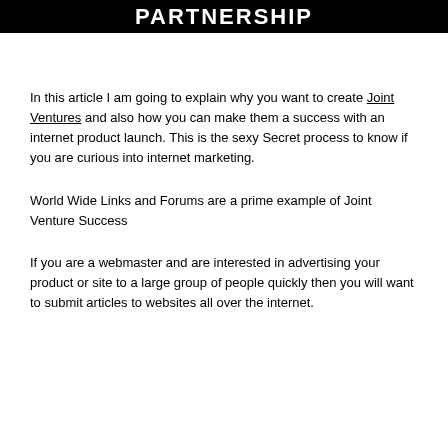PARTNERSHIP
In this article I am going to explain why you want to create Joint Ventures and also how you can make them a success with an internet product launch. This is the sexy Secret process to know if you are curious into internet marketing.
World Wide Links and Forums are a prime example of Joint Venture Success
If you are a webmaster and are interested in advertising your product or site to a large group of people quickly then you will want to submit articles to websites all over the internet.